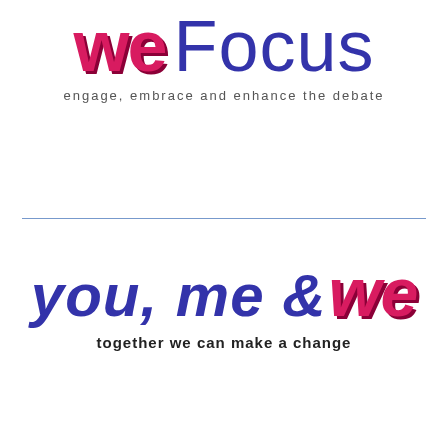[Figure (logo): we Focus logo — 'we' in bold pink/magenta with dark red shadow, 'Focus' in thin blue text, large display size]
engage, embrace and enhance the debate
[Figure (logo): you, me & we logo — 'you, me &' in italic blue, 'we' in bold italic pink/magenta with dark red shadow, large display size]
together we can make a change